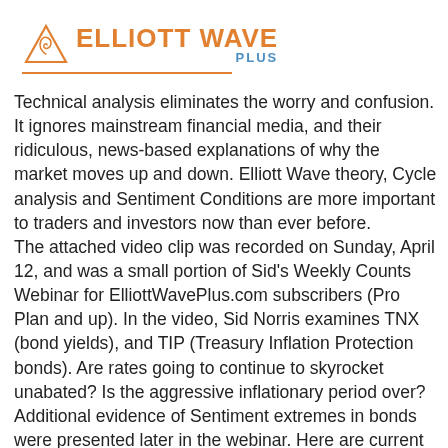[Figure (logo): Elliott Wave Plus logo with spiral wave icon, orange text 'ELLIOTT WAVE' and blue text 'PLUS']
Technical analysis eliminates the worry and confusion. It ignores mainstream financial media, and their ridiculous, news-based explanations of why the market moves up and down. Elliott Wave theory, Cycle analysis and Sentiment Conditions are more important to traders and investors now than ever before. The attached video clip was recorded on Sunday, April 12, and was a small portion of Sid's Weekly Counts Webinar for ElliottWavePlus.com subscribers (Pro Plan and up). In the video, Sid Norris examines TNX (bond yields), and TIP (Treasury Inflation Protection bonds). Are rates going to continue to skyrocket unabated? Is the aggressive inflationary period over? Additional evidence of Sentiment extremes in bonds were presented later in the webinar. Here are current